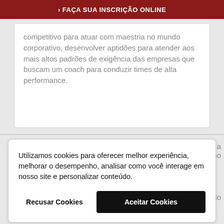› FAÇA SUA INSCRIÇÃO ONLINE
competitivo para atuar com maestria no mundo corporativo, desenvolver aptidões para atender aos mais altos padrões de exigência das empresas que buscam um coach para conduzir times de alta performance.
Utilizamos cookies para oferecer melhor experiência, melhorar o desempenho, analisar como você interage em nosso site e personalizar conteúdo.
Recusar Cookies
Aceitar Cookies